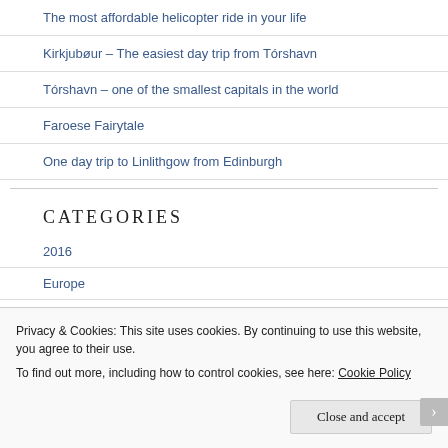The most affordable helicopter ride in your life
Kirkjubøur – The easiest day trip from Tórshavn
Tórshavn – one of the smallest capitals in the world
Faroese Fairytale
One day trip to Linlithgow from Edinburgh
CATEGORIES
2016
Europe
Privacy & Cookies: This site uses cookies. By continuing to use this website, you agree to their use. To find out more, including how to control cookies, see here: Cookie Policy
Close and accept